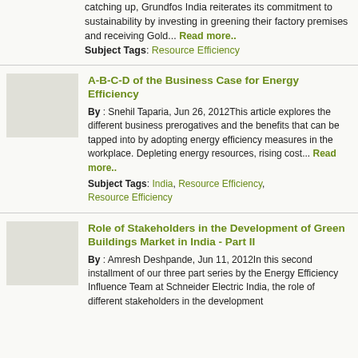catching up, Grundfos India reiterates its commitment to sustainability by investing in greening their factory premises and receiving Gold... Read more.. Subject Tags: Resource Efficiency
A-B-C-D of the Business Case for Energy Efficiency
By : Snehil Taparia, Jun 26, 2012This article explores the different business prerogatives and the benefits that can be tapped into by adopting energy efficiency measures in the workplace. Depleting energy resources, rising cost... Read more.. Subject Tags: India, Resource Efficiency, Resource Efficiency
Role of Stakeholders in the Development of Green Buildings Market in India - Part II
By : Amresh Deshpande, Jun 11, 2012In this second installment of our three part series by the Energy Efficiency Influence Team at Schneider Electric India, the role of different stakeholders in the development